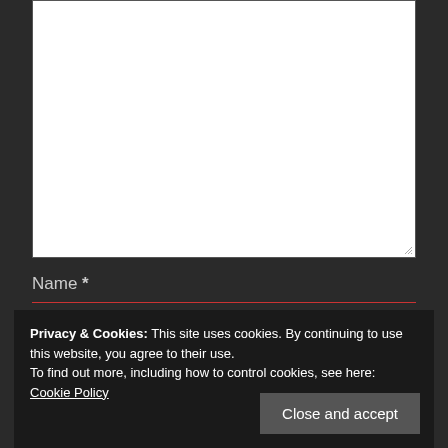[Figure (screenshot): White textarea input box with resize handle in the bottom right corner]
Name *
Privacy & Cookies: This site uses cookies. By continuing to use this website, you agree to their use.
To find out more, including how to control cookies, see here: Cookie Policy
Close and accept